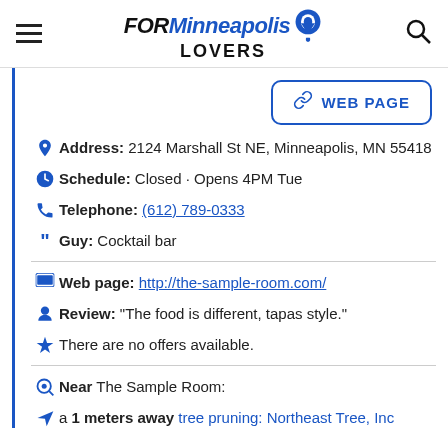FOR Minneapolis LOVERS
WEB PAGE
Address: 2124 Marshall St NE, Minneapolis, MN 55418
Schedule: Closed · Opens 4PM Tue
Telephone: (612) 789-0333
Guy: Cocktail bar
Web page: http://the-sample-room.com/
Review: "The food is different, tapas style."
There are no offers available.
Near The Sample Room:
a 1 meters away tree pruning: Northeast Tree, Inc